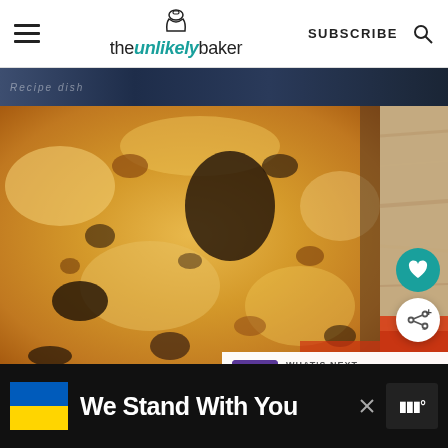theunlikelybaker — SUBSCRIBE
[Figure (photo): Close-up of a baked cheese dish (lasagna or similar) with golden-brown and charred spots on top, in a baking pan, photographed from above at an angle.]
[Figure (infographic): 'WHAT'S NEXT' panel with thumbnail of ube pandesal and text 'How to Make Ube Pandes...']
[Figure (infographic): Advertisement banner with Ukrainian flag colors (blue and yellow) and text 'We Stand With You']